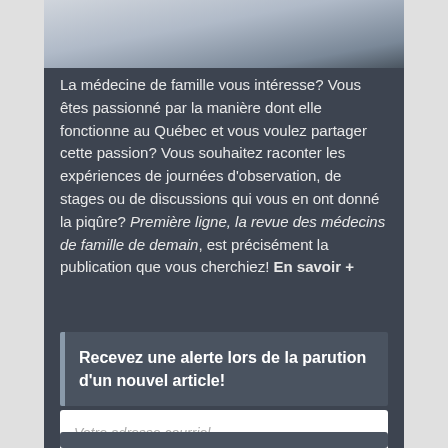[Figure (photo): Photo of a person typing on a laptop, wearing a plaid shirt, cropped at the top of the page.]
La médecine de famille vous intéresse? Vous êtes passionné par la manière dont elle fonctionne au Québec et vous voulez partager cette passion? Vous souhaitez raconter les expériences de journées d'observation, de stages ou de discussions qui vous en ont donné la piqûre? Première ligne, la revue des médecins de famille de demain, est précisément la publication que vous cherchiez! En savoir +
Recevez une alerte lors de la parution d'un nouvel article!
Votre adresse courriel